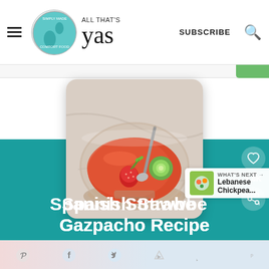ALL THAT'S yas — SUBSCRIBE
[Figure (photo): A glass bowl filled with strawberry gazpacho soup, garnished with a cucumber slice, fresh strawberry, and herbs, with a spoon in it, on a marble surface.]
Spanish Strawberry Gazpacho Recipe
WHAT'S NEXT → Lebanese Chickpea...
Share icons: Pinterest, Facebook, Twitter, Mediavine